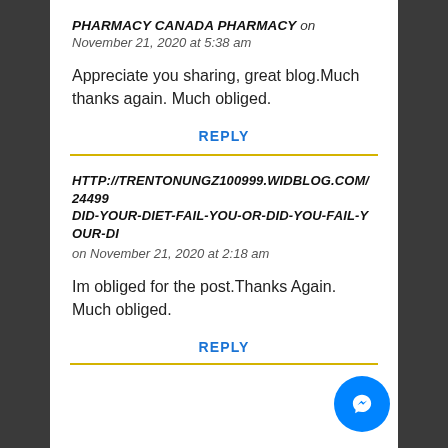PHARMACY CANADA PHARMACY on November 21, 2020 at 5:38 am
Appreciate you sharing, great blog.Much thanks again. Much obliged.
REPLY
HTTP://TRENTONUNGZ100999.WIDBLOG.COM/24499 DID-YOUR-DIET-FAIL-YOU-OR-DID-YOU-FAIL-YOUR-DI on November 21, 2020 at 2:18 am
Im obliged for the post.Thanks Again. Much obliged.
REPLY